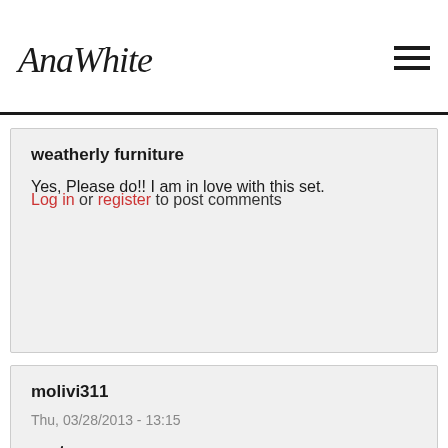AnaWhite
weatherly furniture
Yes, Please do!!  I am in love with this set.
Log in or register to post comments
molivi311
Thu, 03/28/2013 - 13:15
seats
are there any plans on how to do the seats? I would love to add these.